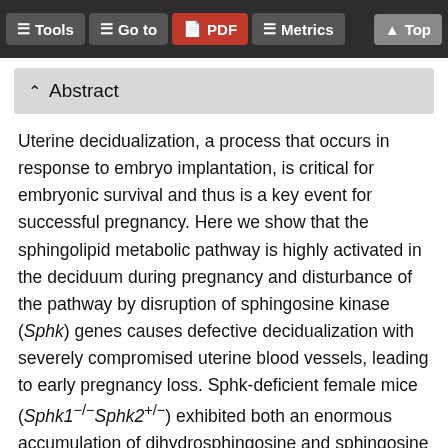Tools  Go to  PDF  Metrics  Top
Abstract
Uterine decidualization, a process that occurs in response to embryo implantation, is critical for embryonic survival and thus is a key event for successful pregnancy. Here we show that the sphingolipid metabolic pathway is highly activated in the deciduum during pregnancy and disturbance of the pathway by disruption of sphingosine kinase (Sphk) genes causes defective decidualization with severely compromised uterine blood vessels, leading to early pregnancy loss. Sphk-deficient female mice (Sphk1−/−Sphk2+/−) exhibited both an enormous accumulation of dihydrosphingosine and sphingosine and a reduction in phosphatidylethanolamine levels in pregnant uteri. Those mice also revealed